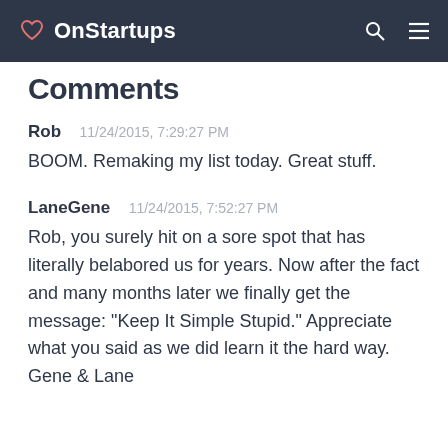OnStartups
Comments
Rob   11/24/2015, 7:29:27 PM
BOOM. Remaking my list today. Great stuff.
LaneGene   11/24/2015, 7:52:27 PM
Rob, you surely hit on a sore spot that has literally belabored us for years. Now after the fact and many months later we finally get the message: "Keep It Simple Stupid." Appreciate what you said as we did learn it the hard way. Gene & Lane